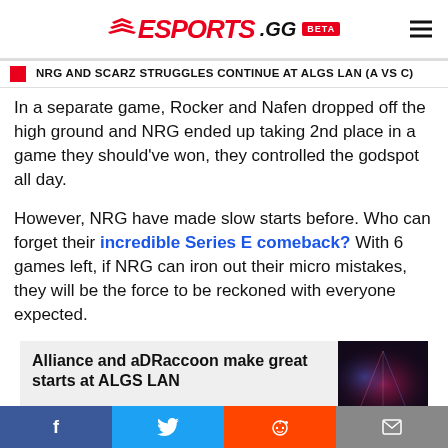ESPORTS.GG BETA
NRG AND SCARZ STRUGGLES CONTINUE AT ALGS LAN (A VS C)
In a separate game, Rocker and Nafen dropped off the high ground and NRG ended up taking 2nd place in a game they should've won, they controlled the godspot all day.
However, NRG have made slow starts before. Who can forget their incredible Series E comeback? With 6 games left, if NRG can iron out their micro mistakes, they will be the force to be reckoned with everyone expected.
Alliance and aDRaccoon make great starts at ALGS LAN
f  Twitter  Reddit  Email